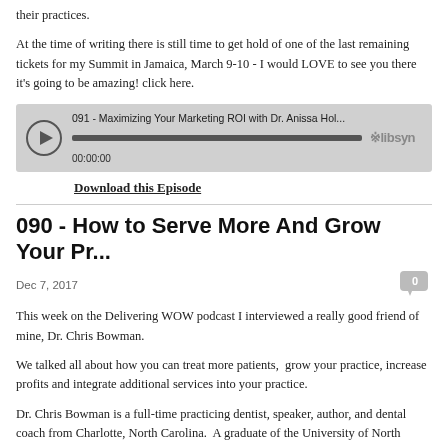their practices.
At the time of writing there is still time to get hold of one of the last remaining tickets for my Summit in Jamaica, March 9-10 - I would LOVE to see you there it's going to be amazing! click here.
[Figure (screenshot): Libsyn audio player showing episode '091 - Maximizing Your Marketing ROI with Dr. Anissa Hol...' with playback bar and timestamp 00:00:00]
Download this Episode
090 - How to Serve More And Grow Your Pr...
Dec 7, 2017
This week on the Delivering WOW podcast I interviewed a really good friend of mine, Dr. Chris Bowman.
We talked all about how you can treat more patients,  grow your practice, increase profits and integrate additional services into your practice.
Dr. Chris Bowman is a full-time practicing dentist, speaker, author, and dental coach from Charlotte, North Carolina.  A graduate of the University of North Carolina – Chapel Hill School of Dentistry, he started Advanced Dentistry of Charlotte in 1996, where he currently collects among the top 5% of dentists nationally.